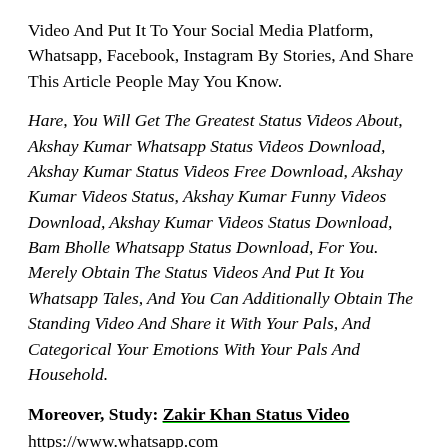Video And Put It To Your Social Media Platform, Whatsapp, Facebook, Instagram By Stories, And Share This Article People May You Know.
Hare, You Will Get The Greatest Status Videos About, Akshay Kumar Whatsapp Status Videos Download, Akshay Kumar Status Videos Free Download, Akshay Kumar Videos Status, Akshay Kumar Funny Videos Download, Akshay Kumar Videos Status Download, Bam Bholle Whatsapp Status Download, For You. Merely Obtain The Status Videos And Put It You Whatsapp Tales, And You Can Additionally Obtain The Standing Video And Share it With Your Pals, And Categorical Your Emotions With Your Pals And Household.
Moreover, Study:  Zakir Khan Status Video https://www.whatsapp.com
Akshay Kumar 30 Second